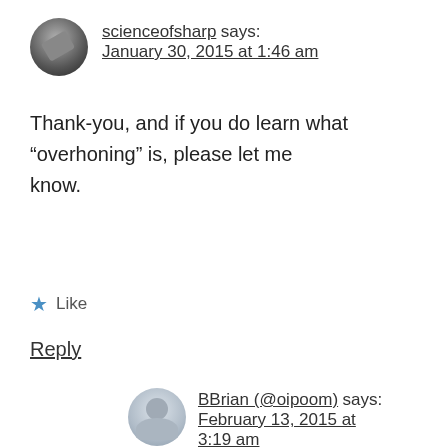scienceofsharp says: January 30, 2015 at 1:46 am
Thank-you, and if you do learn what “overhoning” is, please let me know.
★ Like
Reply
BBrian (@oipoom) says: February 13, 2015 at 3:19 am
The edge begins to chip out after a large number of